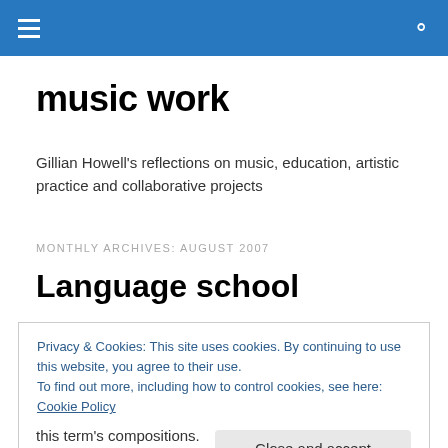music work
music work
Gillian Howell's reflections on music, education, artistic practice and collaborative projects
MONTHLY ARCHIVES: AUGUST 2007
Language school
Privacy & Cookies: This site uses cookies. By continuing to use this website, you agree to their use.
To find out more, including how to control cookies, see here: Cookie Policy
Close and accept
this term's compositions.